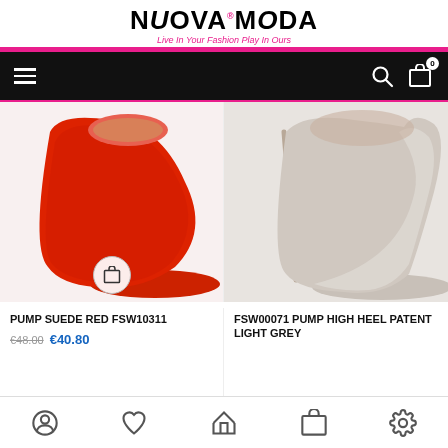[Figure (logo): NUOVA MODA logo with tagline 'Live In Your Fashion Play In Ours']
[Figure (screenshot): Black navigation bar with hamburger menu, search icon, and cart icon with badge '0']
[Figure (photo): Red suede pump high heel shoe product image]
[Figure (photo): Light grey patent pump high heel shoe product image]
PUMP SUEDE RED FSW10311
€48.00  €40.80
FSW00071 PUMP HIGH HEEL PATENT LIGHT GREY
[Figure (screenshot): Bottom navigation bar with account, wishlist, home, cart, and settings icons]